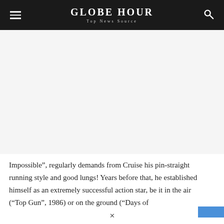GLOBE HOUR
Top News Source
[Figure (other): Advertisement or blank placeholder area below the site header]
Impossible", regularly demands from Cruise his pin-straight running style and good lungs! Years before that, he established himself as an extremely successful action star, be it in the air (“Top Gun”, 1986) or on the ground (“Days of